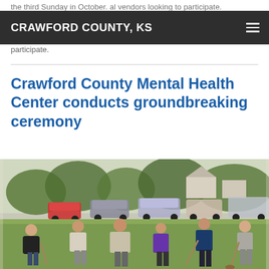the third Sunday in October. …al vendors looking to participate.
CRAWFORD COUNTY, KS
Crawford County Mental Health Center conducts groundbreaking ceremony
[Figure (photo): Group of people at a groundbreaking ceremony, bending down with shovels on a grass lawn, with parked cars and trees in the background.]